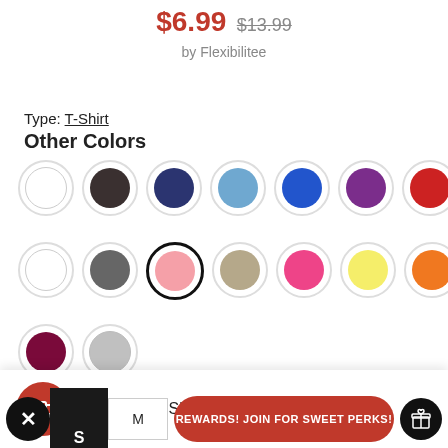$6.99  $13.99
by Flexibilitee
Type: T-Shirt
Other Colors
[Figure (other): Color swatch grid: Row 1: white, dark grey/charcoal, navy, sky blue, royal blue, purple, red. Row 2: white, graphite, pink (selected/outlined), tan/khaki, hot pink, yellow, orange. Row 3 (partial): maroon, silver/grey.]
Free 2-Day Shipping for orders $99+
REWARDS! JOIN FOR SWEET PERKS!